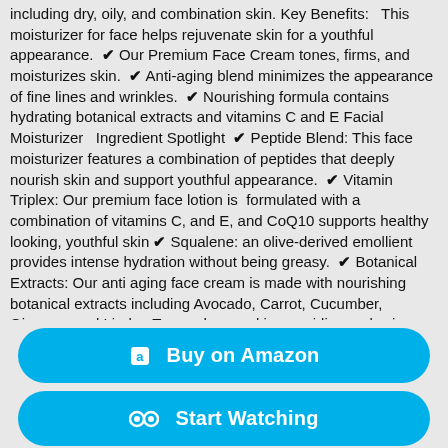including dry, oily, and combination skin. Key Benefits:  This moisturizer for face helps rejuvenate skin for a youthful appearance.  ✔ Our Premium Face Cream tones, firms, and moisturizes skin.  ✔ Anti-aging blend minimizes the appearance of fine lines and wrinkles.  ✔ Nourishing formula contains hydrating botanical extracts and vitamins C and E  Facial Moisturizer  Ingredient Spotlight  ✔ Peptide Blend: This face moisturizer features a combination of peptides that deeply nourish skin and support youthful appearance.  ✔ Vitamin Triplex: Our premium face lotion is formulated with a combination of vitamins C, and E, and CoQ10 supports healthy looking, youthful skin ✔ Squalene: an olive-derived emollient provides intense hydration without being greasy.  ✔ Botanical Extracts: Our anti aging face cream is made with nourishing botanical extracts including Avocado, Carrot, Cucumber, Ginseng, and Linden Tree enhance skin, providing a glowing complexion.  This premium wrinkle cream is rich in vitamin e and...
[Figure (other): Buy on Amazon button - cyan/blue rounded rectangle button with Amazon icon]
[Figure (other): Start Watching button - cyan/blue rounded rectangle button with binoculars icon]